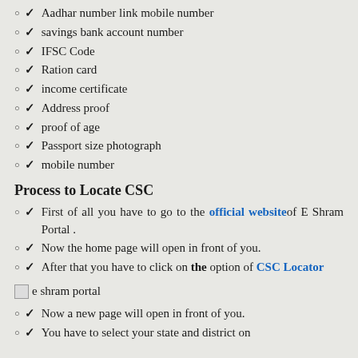✓ Aadhar number link mobile number
✓ savings bank account number
✓ IFSC Code
✓ Ration card
✓ income certificate
✓ Address proof
✓ proof of age
✓ Passport size photograph
✓ mobile number
Process to Locate CSC
✓ First of all you have to go to the official website of E Shram Portal .
✓ Now the home page will open in front of you.
✓ After that you have to click on the option of CSC Locator
[Figure (screenshot): e shram portal image placeholder]
✓ Now a new page will open in front of you.
✓ You have to select your state and district on